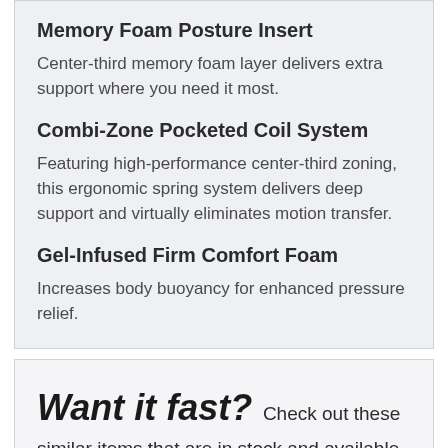Memory Foam Posture Insert
Center-third memory foam layer delivers extra support where you need it most.
Combi-Zone Pocketed Coil System
Featuring high-performance center-third zoning, this ergonomic spring system delivers deep support and virtually eliminates motion transfer.
Gel-Infused Firm Comfort Foam
Increases body buoyancy for enhanced pressure relief.
Want it fast? Check out these similar items that are in stock and available immediately: